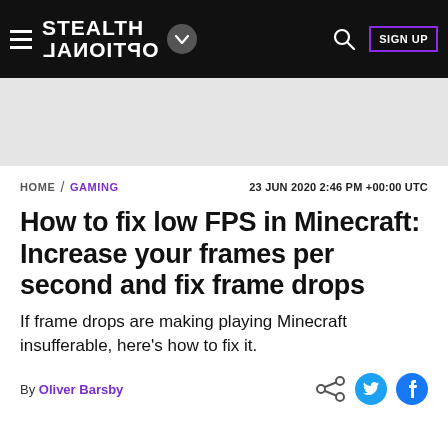STEALTH OPTIONAL — navigation header with hamburger menu, logo, dropdown, search, and SIGN UP button
[Figure (other): Gray advertisement/banner placeholder area]
HOME / GAMING    23 JUN 2020 2:46 PM +00:00 UTC
How to fix low FPS in Minecraft: Increase your frames per second and fix frame drops
If frame drops are making playing Minecraft insufferable, here's how to fix it.
By Oliver Barsby